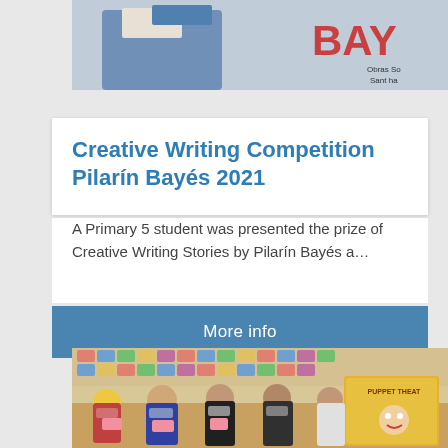[Figure (photo): Top cropped photo showing a person holding something, with 'BAY' text in red on the right side and small text overlay at bottom right]
Creative Writing Competition Pilarín Bayés 2021
A Primary 5 student was presented the prize of Creative Writing Stories by Pilarín Bayés a…
More info
[Figure (photo): Children wearing masks standing in a classroom with colorful wall art behind them. A puppet theatre sign is visible on the right side. Children are holding pink paper crafts.]